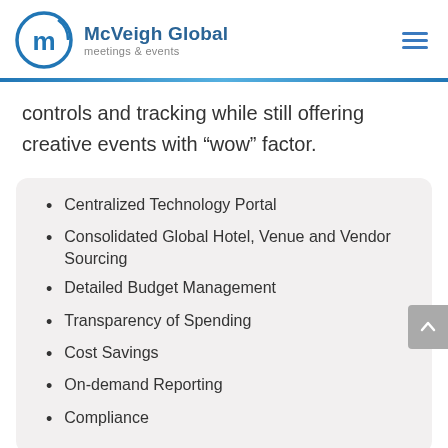[Figure (logo): McVeigh Global meetings & events logo with blue circular 'm' icon]
controls and tracking while still offering creative events with “wow” factor.
Centralized Technology Portal
Consolidated Global Hotel, Venue and Vendor Sourcing
Detailed Budget Management
Transparency of Spending
Cost Savings
On-demand Reporting
Compliance